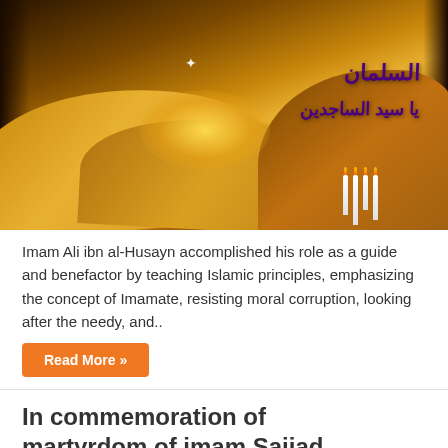[Figure (illustration): Dark atmospheric image with sandy desert dunes, glowing golden light in the center, Arabic calligraphy text in purple on the right side, a small white butterfly, candle flames on the lower right, and dark vignette edges.]
Imam Ali ibn al-Husayn accomplished his role as a guide and benefactor by teaching Islamic principles, emphasizing the concept of Imamate, resisting moral corruption, looking after the needy, and..
Read More »
In commemoration of martyrdom of imam Sajjad +Books
September 22, 2018    Books, Calendar, Library, Sociability & Relations